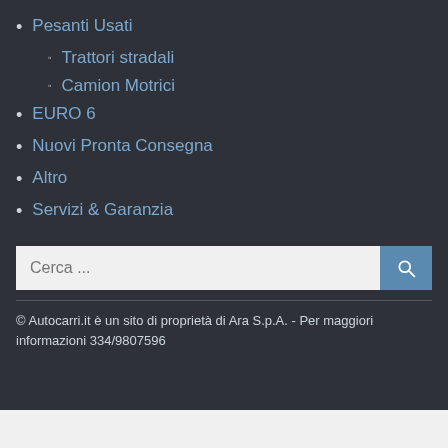Pesanti Usati
Trattori stradali
Camion Motrici
EURO 6
Nuovi Pronta Consegna
Altro
Servizi & Garanzia
Cerca ...
© Autocarri.it è un sito di proprietà di Ara S.p.A. - Per maggiori informazioni 334/9807596